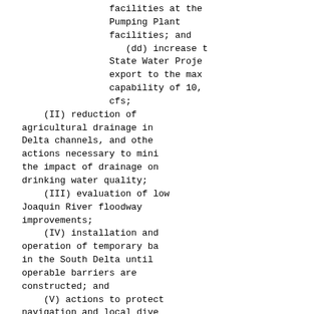facilities at the
Pumping Plant
facilities; and
    (dd) increase the
State Water Project
export to the maximum
capability of 10,300
cfs;
    (II) reduction of
agricultural drainage into
Delta channels, and other
actions necessary to minimize
the impact of drainage on
drinking water quality;
    (III) evaluation of low
Joaquin River floodway
improvements;
    (IV) installation and
operation of temporary barriers
in the South Delta until
operable barriers are
constructed; and
    (V) actions to protect
navigation and local diversions
not adequately protected by
temporary barriers.
    (ii) Actions to increase pumping.
Actions to increase pumping shall be
accomplished in a manner consistent
with the Record of Decision req...